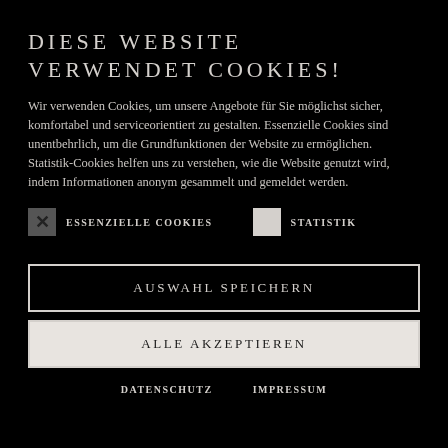DIESE WEBSITE VERWENDET COOKIES!
Wir verwenden Cookies, um unsere Angebote für Sie möglichst sicher, komfortabel und serviceorientiert zu gestalten. Essenzielle Cookies sind unentbehrlich, um die Grundfunktionen der Website zu ermöglichen. Statistik-Cookies helfen uns zu verstehen, wie die Website genutzt wird, indem Informationen anonym gesammelt und gemeldet werden.
ESSENZIELLE COOKIES  [checked]   STATISTIK [unchecked]
AUSWAHL SPEICHERN
ALLE AKZEPTIEREN
DATENSCHUTZ   IMPRESSUM